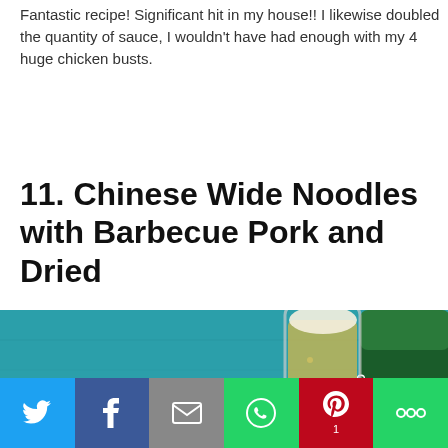Fantastic recipe! Significant hit in my house!! I likewise doubled the quantity of sauce, I wouldn't have had enough with my 4 huge chicken busts.
11. Chinese Wide Noodles with Barbecue Pork and Dried
[Figure (photo): A bowl of Chinese wide noodles with barbecue pork and dark ingredients on a teal wooden surface, with a glass of beer and a Tsingtao beer can in the background.]
Social share toolbar: Twitter, Facebook, Email, WhatsApp, Pinterest (1), More